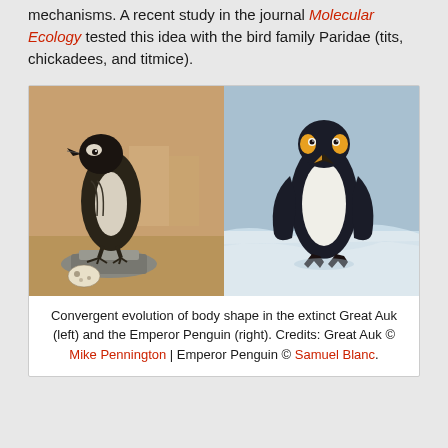mechanisms. A recent study in the journal Molecular Ecology tested this idea with the bird family Paridae (tits, chickadees, and titmice).
[Figure (photo): Two side-by-side photos showing convergent evolution of body shape: left photo shows a taxidermied Great Auk (extinct bird) mounted on a display stand with an egg, in a museum setting; right photo shows a live Emperor Penguin standing on snow.]
Convergent evolution of body shape in the extinct Great Auk (left) and the Emperor Penguin (right). Credits: Great Auk © Mike Pennington | Emperor Penguin © Samuel Blanc.